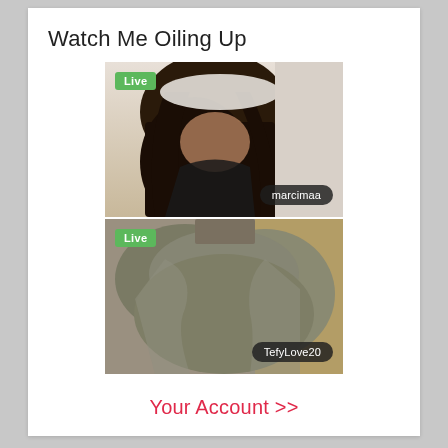Watch Me Oiling Up
[Figure (photo): Live stream thumbnail showing a woman with long dark hair wearing a white cap and dark bikini top, with username badge 'marcimaa' and green 'Live' badge]
[Figure (photo): Live stream thumbnail showing close-up of a woman in a tight olive/gray long-sleeve top, with username badge 'TefyLove20' and green 'Live' badge]
Your Account >>